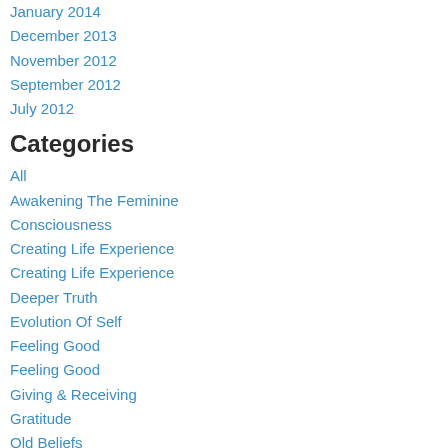January 2014
December 2013
November 2012
September 2012
July 2012
Categories
All
Awakening The Feminine
Consciousness
Creating Life Experience
Creating Life Experience
Deeper Truth
Evolution Of Self
Feeling Good
Feeling Good
Giving & Receiving
Gratitude
Old Beliefs
Personal Evolution
Personal Transformation